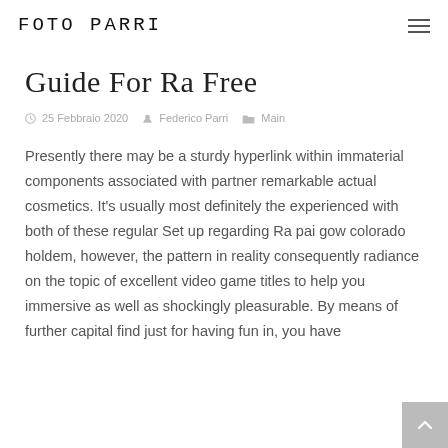FOTO PARRI
Guide For Ra Free
25 Febbraio 2020  Federico Parri  Main
Presently there may be a sturdy hyperlink within immaterial components associated with partner remarkable actual cosmetics. It’s usually most definitely the experienced with both of these regular Set up regarding Ra pai gow colorado holdem, however, the pattern in reality consequently radiance on the topic of excellent video game titles to help you immersive as well as shockingly pleasurable. By means of further capital find just for having fun in, you have